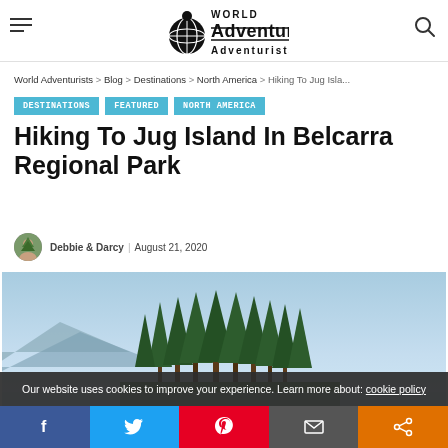World Adventurists
World Adventurists > Blog > Destinations > North America > Hiking To Jug Isla...
Destinations
Featured
North America
Hiking To Jug Island In Belcarra Regional Park
Debbie & Darcy | August 21, 2020
[Figure (photo): Outdoor photo of Jug Island showing evergreen trees on an island with blue sky and mountain silhouette in background]
Our website uses cookies to improve your experience. Learn more about: cookie policy
Social share bar: Facebook, Twitter, Pinterest, Email, Share